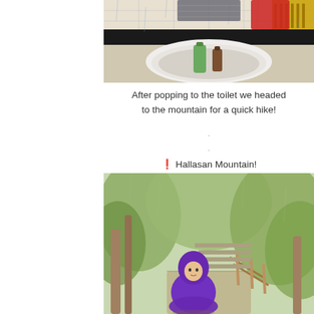[Figure (photo): Photo of a public restroom sink with soap dispensers, tiled floor with yellow tactile strip, rainy conditions visible]
After popping to the toilet we headed to the mountain for a quick hike!
.
.
.
.
⬛ Hallasan Mountain!
[Figure (photo): Photo of a person in a purple rain poncho standing on a forest trail at Hallasan Mountain, surrounded by green trees and a wooden walkway]